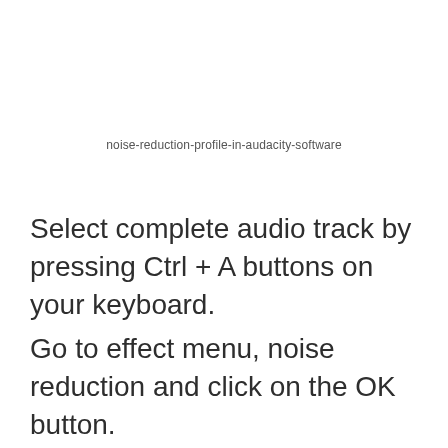noise-reduction-profile-in-audacity-software
Select complete audio track by pressing Ctrl + A buttons on your keyboard.
Go to effect menu, noise reduction and click on the OK button.